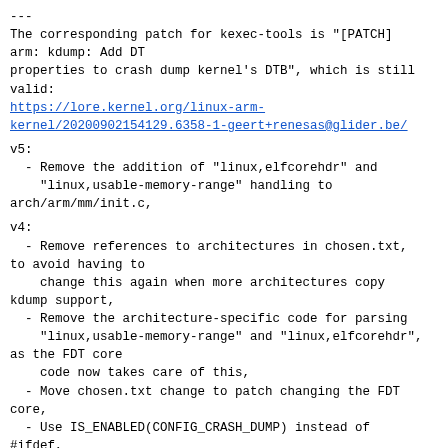---
The corresponding patch for kexec-tools is "[PATCH] arm: kdump: Add DT
properties to crash dump kernel's DTB", which is still valid:
https://lore.kernel.org/linux-arm-kernel/20200902154129.6358-1-geert+renesas@glider.be/
v5:
  - Remove the addition of "linux,elfcorehdr" and
    "linux,usable-memory-range" handling to arch/arm/mm/init.c,
v4:
  - Remove references to architectures in chosen.txt, to avoid having to
    change this again when more architectures copy kdump support,
  - Remove the architecture-specific code for parsing
    "linux,usable-memory-range" and "linux,elfcorehdr", as the FDT core
    code now takes care of this,
  - Move chosen.txt change to patch changing the FDT core,
  - Use IS_ENABLED(CONFIG_CRASH_DUMP) instead of #ifdef,
v3:
  - Rebase on top of accepted solution for DTB memory information